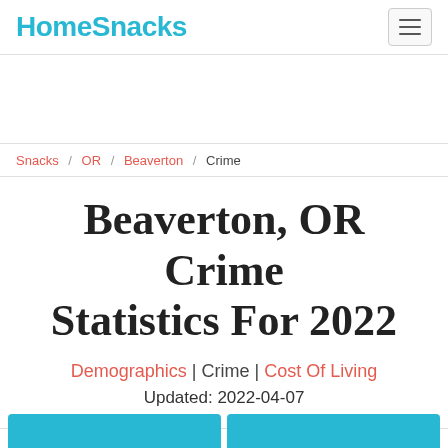HomeSnacks
Snacks / OR / Beaverton / Crime
Beaverton, OR Crime Statistics For 2022
Demographics | Crime | Cost Of Living
Updated: 2022-04-07